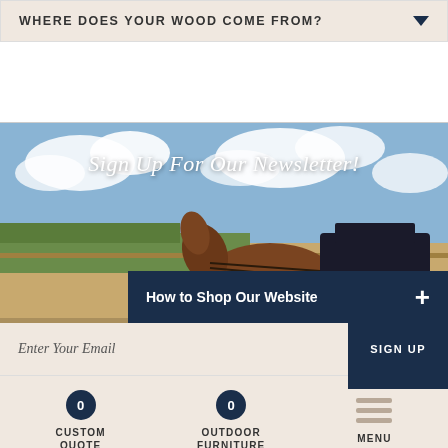WHERE DOES YOUR WOOD COME FROM?
[Figure (photo): Amish horse and buggy traveling along a rural road with green and golden farmland in the background under a partly cloudy sky. Text overlay reads 'Sign Up For Our Newsletter!']
Sign Up For Our Newsletter!
How to Shop Our Website +
Enter Your Email
SIGN UP
CUSTOM QUOTE
OUTDOOR FURNITURE
MENU